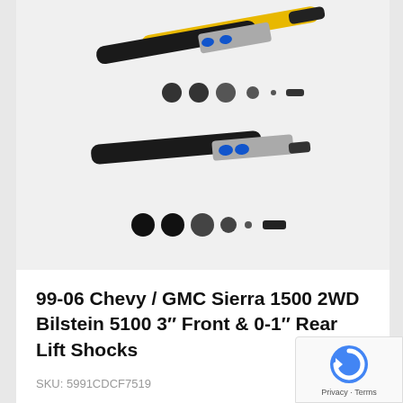[Figure (photo): Product photo of Bilstein 5100 shock absorbers — two shock absorbers with mounting hardware components shown on a light gray background]
99-06 Chevy / GMC Sierra 1500 2WD Bilstein 5100 3″ Front & 0-1″ Rear Lift Shocks
SKU: 5991CDCF7519
★★★★★ (0 reviews)
$366.00 $340.38